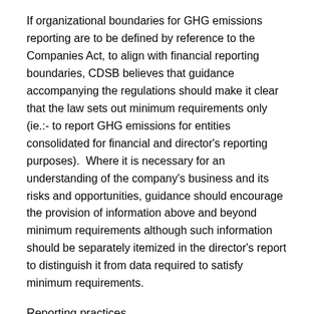If organizational boundaries for GHG emissions reporting are to be defined by reference to the Companies Act, to align with financial reporting boundaries, CDSB believes that guidance accompanying the regulations should make it clear that the law sets out minimum requirements only (ie.:- to report GHG emissions for entities consolidated for financial and director's reporting purposes).  Where it is necessary for an understanding of the company's business and its risks and opportunities, guidance should encourage the provision of information above and beyond minimum requirements although such information should be separately itemized in the director's report to distinguish it from data required to satisfy minimum requirements.
Reporting practices
Q7. Will there be a requirement to breakdown total emissions for example by subsidiary or geographical region?
A7. There is no specific requirement on segmentation of